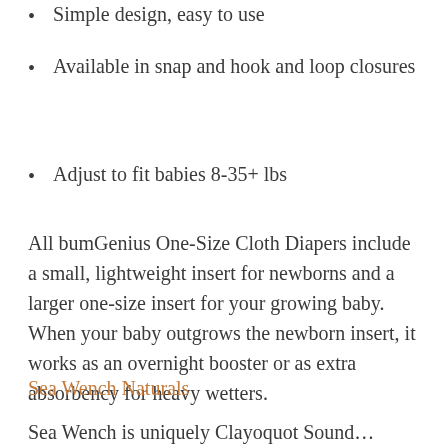Simple design, easy to use
Available in snap and hook and loop closures
Adjust to fit babies 8-35+ lbs
All bumGenius One-Size Cloth Diapers include a small, lightweight insert for newborns and a larger one-size insert for your growing baby. When your baby outgrows the newborn insert, it works as an overnight booster or as extra absorbency for heavy wetters.
Sea Wench Naturals
Sea Wench is uniquely Clayoquot Sound...